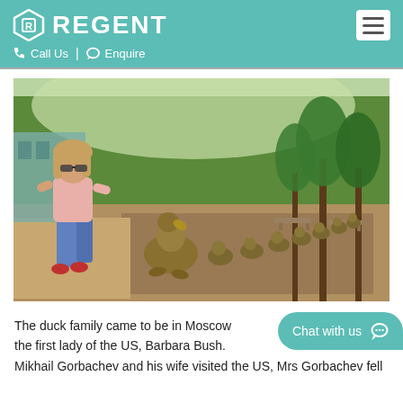REGENT | Call Us | Enquire
[Figure (photo): A young woman with sunglasses crouching next to bronze duck statues (mother duck and ducklings) on a brick path in a park in Moscow, with trees and benches in the background.]
The duck family came to be in Moscow from the first lady of the US, Barbara Bush. When President Mikhail Gorbachev and his wife visited the US, Mrs Gorbachev fell